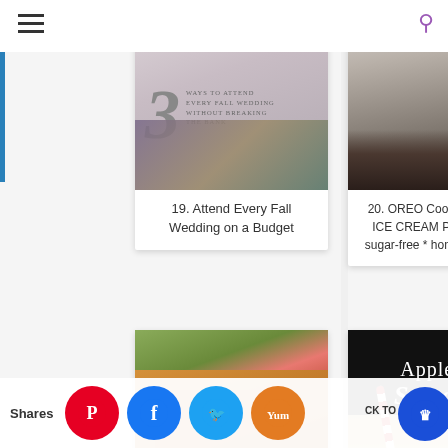[Figure (screenshot): Hamburger menu icon (three horizontal lines) in top left]
[Figure (screenshot): Search/magnifying glass icon (purple) in top right]
[Figure (photo): Card 19: Image showing '3 Ways to Attend Every Fall Wedding Without Breaking the Bank' with large '3' numeral and floral background]
19. Attend Every Fall Wedding on a Budget
[Figure (photo): Card 20: Close-up photo of OREO Cookies and Cream Ice Cream Pie, dark chocolate crust with cream filling]
20. OREO Cookies 'n Cream ICE CREAM PIE * sugar or sugar-free * homemade or sto
[Figure (photo): Card bottom-left: Photo of pepperoni pizza slice with green herbs and salad]
21. Homemade PEPPERONI PIZZA...sy
[Figure (photo): Card bottom-right: Apple Pie Smoothie on dark background with red-striped straw, red apple, and cinnamon]
Apple Pie Smoothie
Shares
CK TO